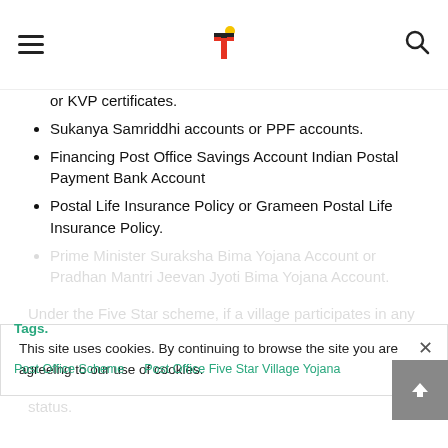[hamburger menu] [Triveni logo] [search icon]
or KVP certificates.
Sukanya Samriddhi accounts or PPF accounts.
Financing Post Office Savings Account Indian Postal Payment Bank Account
Postal Life Insurance Policy or Grameen Postal Life Insurance Policy.
Prime Minister Suraksha Bima Yojana Account or Pradhan Mantri Jeevan Jyoti Bima Yojana Account.
Under the Five Star scheme, if a village participates in any of the four products in the aforesaid list, then that village will be given Four-Star status. Subsequently, if a village participates in three schemes, it will be given Three-Star status.
This site uses cookies. By continuing to browse the site you are agreeing to our use of cookies.
Tags.
Post Office Scheme   Post Office Five Star Village Yojana